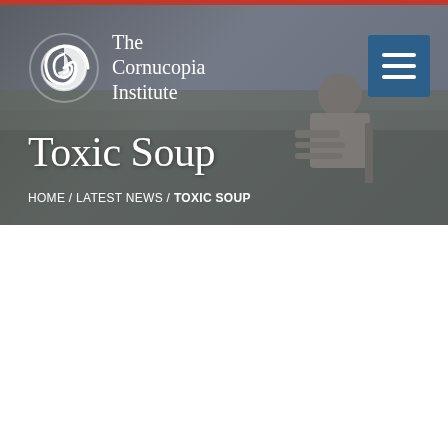[Figure (screenshot): The Cornucopia Institute website header with logo (spiral shell icon and text 'The Cornucopia Institute'), a hamburger menu button in blue, an agricultural background photo of a person seated in a field, and a dark overlay. The page title 'Toxic Soup' appears in large serif white text. A breadcrumb reads: HOME / LATEST NEWS / TOXIC SOUP.]
Toxic Soup
HOME / LATEST NEWS / TOXIC SOUP
Last updated April 2, 2013
SHARE   PRINT
Today’s Smorgasbord of Ag Chemicals Poses Special Risks to Children’s Health